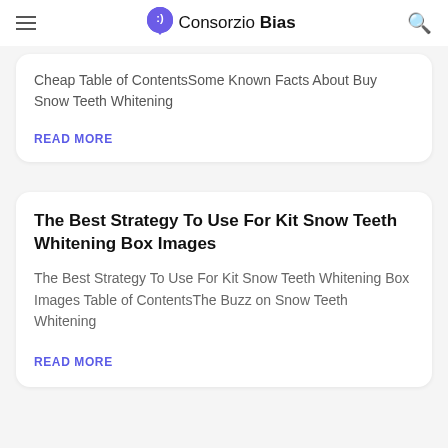Consorzio Bias
Cheap Table of ContentsSome Known Facts About Buy Snow Teeth Whitening
READ MORE
The Best Strategy To Use For Kit Snow Teeth Whitening Box Images
The Best Strategy To Use For Kit Snow Teeth Whitening Box Images Table of ContentsThe Buzz on Snow Teeth Whitening
READ MORE